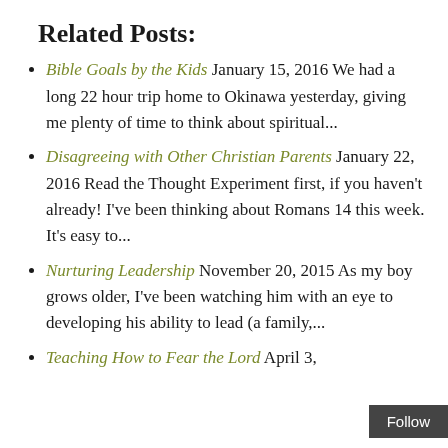Related Posts:
Bible Goals by the Kids January 15, 2016 We had a long 22 hour trip home to Okinawa yesterday, giving me plenty of time to think about spiritual...
Disagreeing with Other Christian Parents January 22, 2016 Read the Thought Experiment first, if you haven't already! I've been thinking about Romans 14 this week. It's easy to...
Nurturing Leadership November 20, 2015 As my boy grows older, I've been watching him with an eye to developing his ability to lead (a family,...
Teaching How to Fear the Lord April 3,